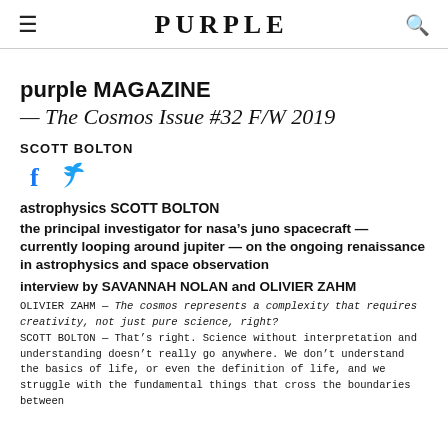PURPLE
purple MAGAZINE
— The Cosmos Issue #32 F/W 2019
SCOTT BOLTON
[Figure (illustration): Social media icons: Facebook (f) and Twitter (bird) in blue]
astrophysics SCOTT BOLTON
the principal investigator for nasa's juno spacecraft — currently looping around jupiter — on the ongoing renaissance in astrophysics and space observation
interview by SAVANNAH NOLAN and OLIVIER ZAHM
OLIVIER ZAHM — The cosmos represents a complexity that requires creativity, not just pure science, right?
SCOTT BOLTON — That's right. Science without interpretation and understanding doesn't really go anywhere. We don't understand the basics of life, or even the definition of life, and we struggle with the fundamental things that cross the boundaries between